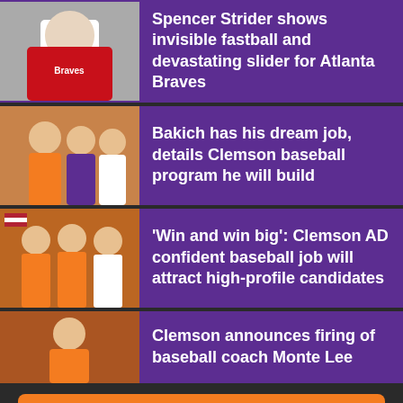Spencer Strider shows invisible fastball and devastating slider for Atlanta Braves
Bakich has his dream job, details Clemson baseball program he will build
'Win and win big': Clemson AD confident baseball job will attract high-profile candidates
Clemson announces firing of baseball coach Monte Lee
More Stories
[Figure (screenshot): Video player showing a man in a suit being interviewed indoors, with a play button overlay and a watermark in the top-left corner]